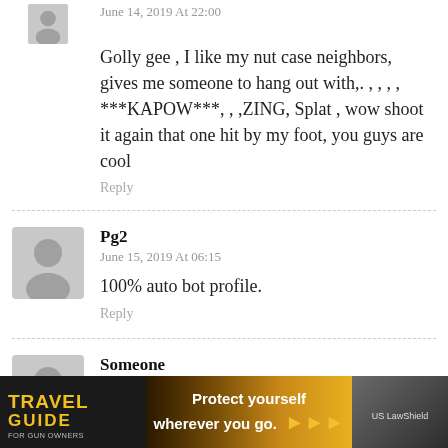June 14, 2019 At 22:00
Golly gee , I like my nut case neighbors, gives me someone to hang out with,. , , , , ***KAPOW***, , ,ZING, Splat , wow shoot it again that one hit by my foot, you guys are cool
Reply
Pg2
June 15, 2019 At 06:15
100% auto bot profile.
Reply
Someone
June 16, 2019 At 14:13
Suppressor is a tube with some baffles in it.
iminals
m.
[Figure (infographic): Travel Guide for Gun Owners advertisement banner with yellow text and 'Protect yourself wherever you go.' tagline with US LawShield branding]